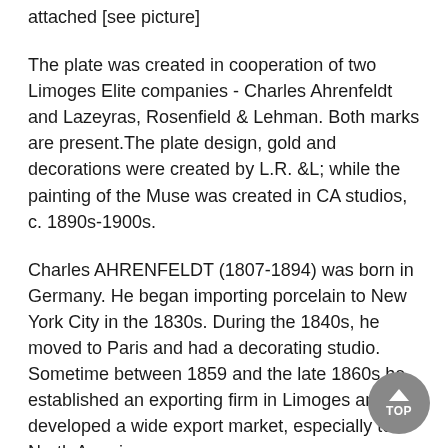attached [see picture]
The plate was created in cooperation of two Limoges Elite companies - Charles Ahrenfeldt and Lazeyras, Rosenfield & Lehman. Both marks are present.The plate design, gold and decorations were created by L.R. &L; while the painting of the Muse was created in CA studios, c. 1890s-1900s.
Charles AHRENFELDT (1807-1894) was born in Germany. He began importing porcelain to New York City in the 1830s. During the 1840s, he moved to Paris and had a decorating studio. Sometime between 1859 and the late 1860s he established an exporting firm in Limoges and developed a wide export market, especially to North America.
Around 1884, he also started decorating porcelain in Limoges. Possibly around this time, he started his porcelain factory. His son, Charles J. Ahrenfeldt